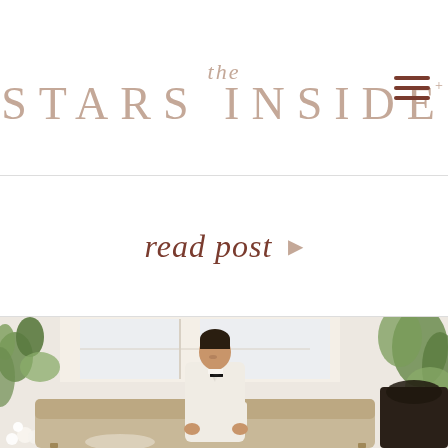the STARS INSIDE
read post ▶
[Figure (photo): A groom in a white tuxedo seated on a vintage sofa surrounded by lush greenery and florals in a bright, airy room]